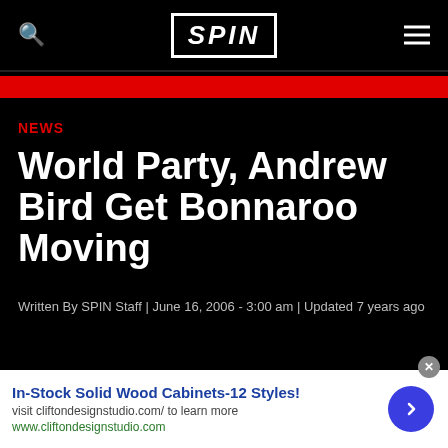SPIN
NEWS
World Party, Andrew Bird Get Bonnaroo Moving
Written By SPIN Staff | June 16, 2006 - 3:00 am | Updated 7 years ago
In-Stock Solid Wood Cabinets-12 Styles! visit cliftondesignstudio.com/ to learn more www.cliftondesignstudio.com